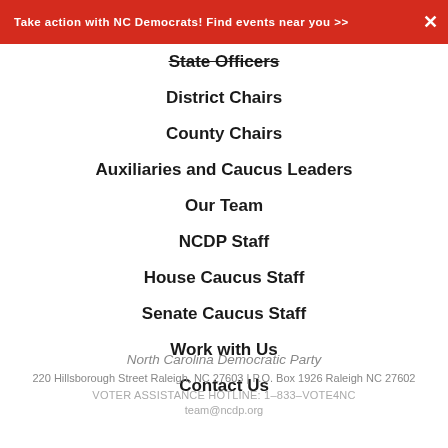Take action with NC Democrats! Find events near you >>
State Officers
District Chairs
County Chairs
Auxiliaries and Caucus Leaders
Our Team
NCDP Staff
House Caucus Staff
Senate Caucus Staff
Work with Us
Contact Us
North Carolina Democratic Party
220 Hillsborough Street Raleigh, NC 27603 | P.O. Box 1926 Raleigh NC 27602
VOTER ASSISTANCE HOTLINE: 1-833-VOTE4NC
team@ncdp.org